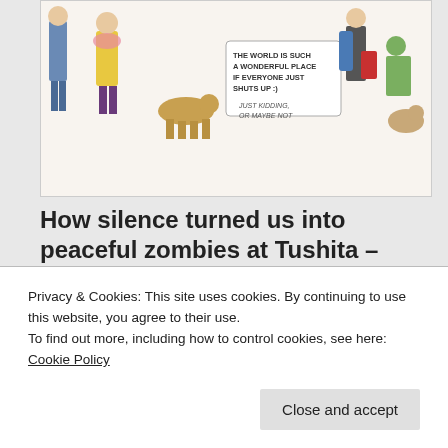[Figure (illustration): Whimsical hand-drawn illustration showing various people, animals, and text bubbles. Text visible: 'THE WORLD IS SUCH A WONDERFUL PLACE IF EVERYONE JUST SHUTS UP :)' and 'JUST KIDDING, OR MAYBE NOT']
How silence turned us into peaceful zombies at Tushita – Introduction to Buddhism
For more information about the course please check out the Tushita website
[Figure (illustration): Partial illustration strip at bottom showing comic panels with text 'NEXT DAY LUNCH', 'HOLY COW...', 'FUSSY THEN.']
Privacy & Cookies: This site uses cookies. By continuing to use this website, you agree to their use.
To find out more, including how to control cookies, see here: Cookie Policy